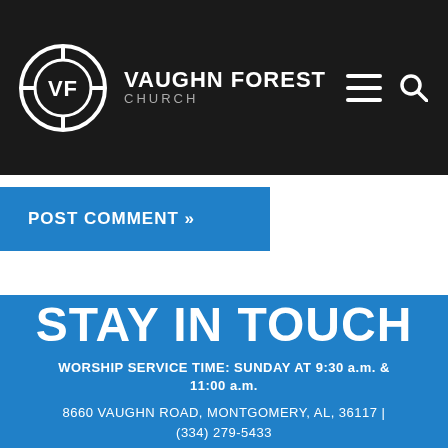[Figure (logo): Vaughn Forest Church logo with VF initials in a circle with crosshair design, white on dark background, with navigation hamburger menu and search icon]
POST COMMENT »
STAY IN TOUCH
WORSHIP SERVICE TIME: SUNDAY AT 9:30 a.m. & 11:00 a.m.
8660 VAUGHN ROAD, MONTGOMERY, AL, 36117 | (334) 279-5433